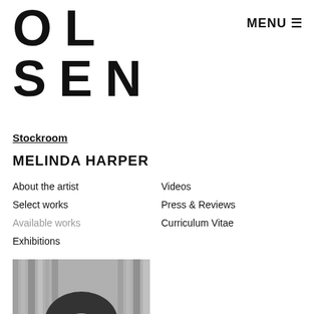OL SEN
MENU ☰
Stockroom
MELINDA HARPER
About the artist
Select works
Available works
Exhibitions
Videos
Press & Reviews
Curriculum Vitae
[Figure (photo): Black and white portrait photo of Melinda Harper, a woman with dark hair, facing the camera, with bookshelves in the background.]